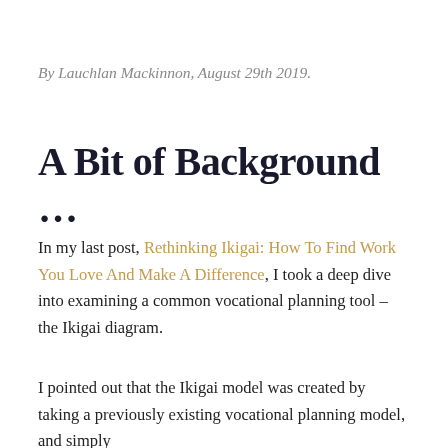By Lauchlan Mackinnon, August 29th 2019.
A Bit of Background …
In my last post, Rethinking Ikigai: How To Find Work You Love And Make A Difference, I took a deep dive into examining a common vocational planning tool – the Ikigai diagram.
I pointed out that the Ikigai model was created by taking a previously existing vocational planning model, and simply